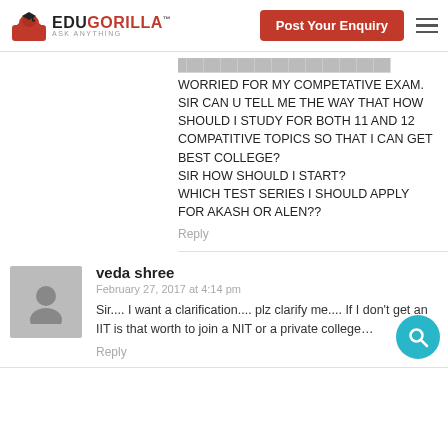EduGorilla | Post Your Enquiry
WORRIED FOR MY COMPETATIVE EXAM. SIR CAN U TELL ME THE WAY THAT HOW SHOULD I STUDY FOR BOTH 11 AND 12 COMPATITIVE TOPICS SO THAT I CAN GET BEST COLLEGE?
SIR HOW SHOULD I START?
WHICH TEST SERIES I SHOULD APPLY FOR AKASH OR ALEN??
Reply
veda shree
February 27, 2017 at 4:14 pm
Sir.... I want a clarification.... plz clarify me.... If I don't get an IIT is that worth to join a NIT or a private college...
Reply